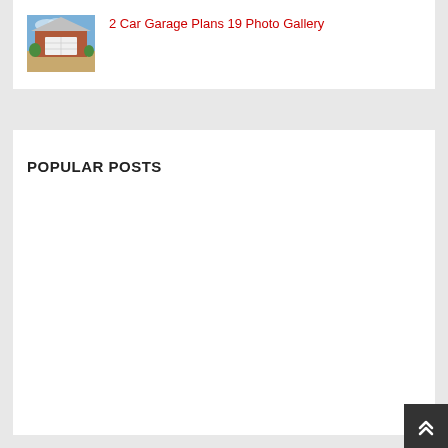[Figure (photo): Thumbnail photo of a two-car garage with brick exterior and white garage door, with greenery in the background]
2 Car Garage Plans 19 Photo Gallery
POPULAR POSTS